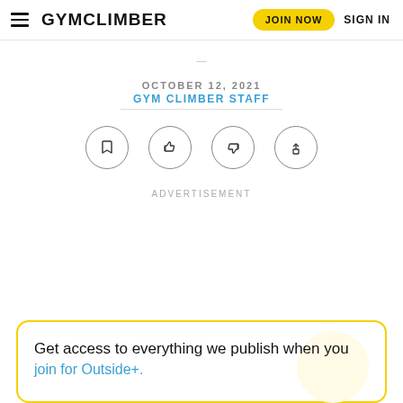GYMCLIMBER | JOIN NOW | SIGN IN
OCTOBER 12, 2021
GYM CLIMBER STAFF
[Figure (infographic): Row of four circular icon buttons: bookmark, thumbs up, thumbs down, share]
ADVERTISEMENT
Get access to everything we publish when you